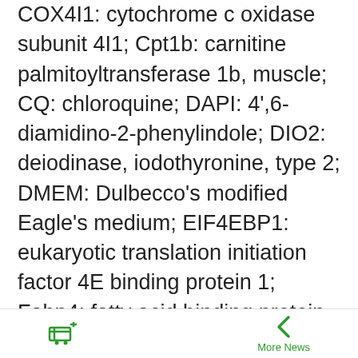COX4I1: cytochrome c oxidase subunit 4I1; Cpt1b: carnitine palmitoyltransferase 1b, muscle; CQ: chloroquine; DAPI: 4',6-diamidino-2-phenylindole; DIO2: deiodinase, iodothyronine, type 2; DMEM: Dulbecco's modified Eagle's medium; EIF4EBP1: eukaryotic translation initiation factor 4E binding protein 1; Fabp4: fatty acid binding protein 4, adipocyte; FBS: fetal bovine serum; FCCP: carbonyl cyanide-4-(trifluoromethoxy)phenylhydrazone; FGF: fibroblast growth factor; FOXO1: forkhead box O1; GAPDH: glyceraldehyde-3-phosphate dehydrogenase; GFP: green fluorescent protein; Gpx1: glutathione peroxidase 1; Lipe: lipase, hormone sensitive; MAP1LC3B: microtubule associated protein 1 light chain 3;
More News